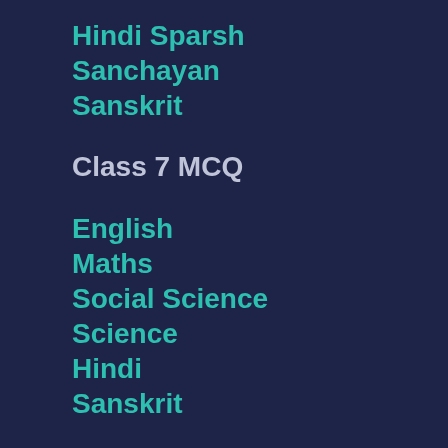Hindi Sparsh
Sanchayan
Sanskrit
Class 7 MCQ
English
Maths
Social Science
Science
Hindi
Sanskrit
Class 9 MCQ
English
Maths